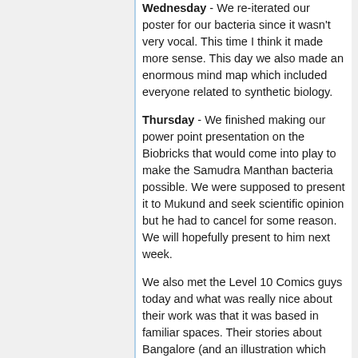Wednesday - We re-iterated our poster for our bacteria since it wasn't very vocal. This time I think it made more sense. This day we also made an enormous mind map which included everyone related to synthetic biology.
Thursday - We finished making our power point presentation on the Biobricks that would come into play to make the Samudra Manthan bacteria possible. We were supposed to present it to Mukund and seek scientific opinion but he had to cancel for some reason. We will hopefully present to him next week.
We also met the Level 10 Comics guys today and what was really nice about their work was that it was based in familiar spaces. Their stories about Bangalore (and an illustration which